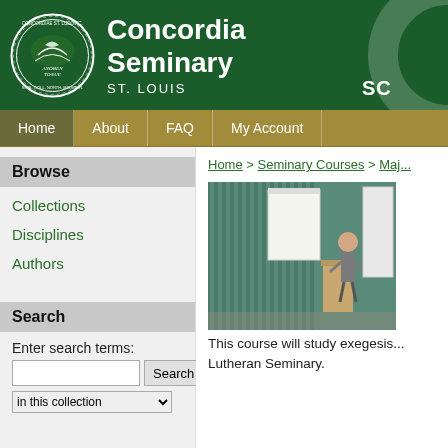[Figure (logo): Concordia Seminary St. Louis header with institutional seal and name]
Home | About | FAQ | My Account
Browse
Collections
Disciplines
Authors
Search
Enter search terms:
in this collection
Home > Seminary Courses > Maj...
[Figure (photo): A lecturer standing at a podium in a classroom with a flip chart]
This course will study exegesis... Lutheran Seminary.